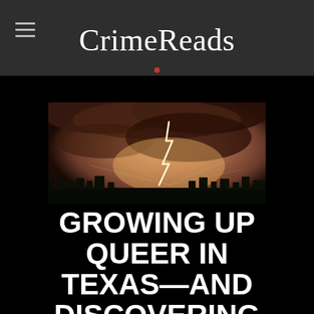CrimeReads
[Figure (photo): A dramatic wide-angle photograph of a lightning bolt striking the ground at dusk, with stormy orange-pink clouds and dark silhouetted treeline]
GROWING UP QUEER IN TEXAS—AND DISCOVERING